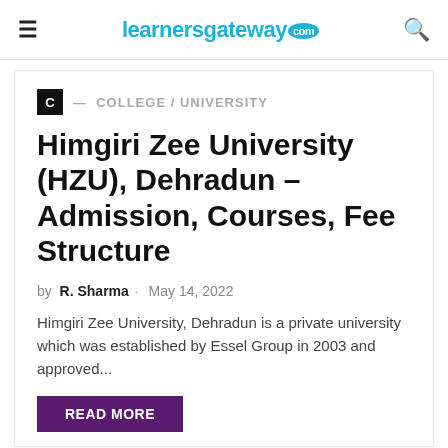learnersgateway.com
C — COLLEGE / UNIVERSITY
Himgiri Zee University (HZU), Dehradun – Admission, Courses, Fee Structure
by R. Sharma · May 14, 2022
Himgiri Zee University, Dehradun is a private university which was established by Essel Group in 2003 and approved...